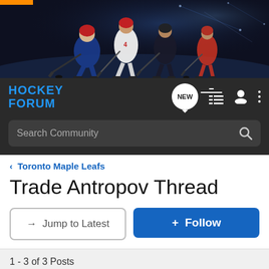[Figure (photo): Hockey players action shot banner — multiple players on ice with dramatic blue/dark lighting and dynamic action poses]
HOCKEY FORUM
Search Community
< Toronto Maple Leafs
Trade Antropov Thread
→ Jump to Latest
+ Follow
1 - 3 of 3 Posts
ASSYRIAN HOCKEY PLAYER · Registered
Joined Jun 24, 2006 · 2 Posts